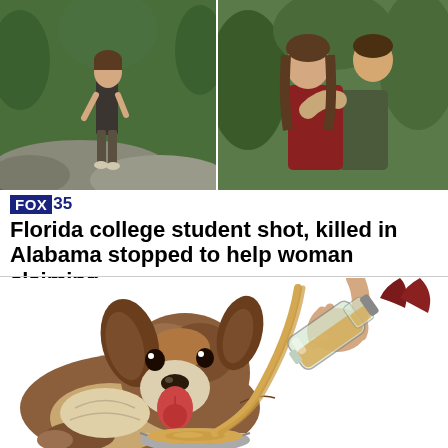[Figure (photo): Two photos side by side: left photo shows a person standing on rocks outdoors with green foliage background; right photo shows two people embracing outdoors.]
FOX 35
Florida college student shot, killed in Alabama stopped to help woman claiming…
[Figure (illustration): Illustration of a fluffy brown and white dog with tongue out, being poured a liquid from a glass bottle into a metal bowl.]